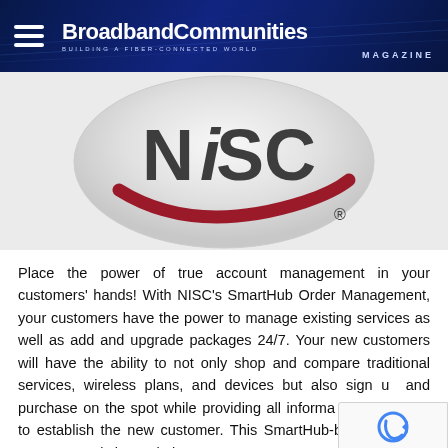BroadbandCommunities MAGAZINE | BUILDING A FIBER-CONNECTED WORLD
[Figure (logo): NISC logo — circular grey gradient background with 'NiSC' in large dark grey text and a dark red swoosh arc below the lettering, with a registered trademark symbol]
Place the power of true account management in your customers' hands! With NISC's SmartHub Order Management, your customers have the power to manage existing services as well as add and upgrade packages 24/7. Your new customers will have the ability to not only shop and compare traditional services, wireless plans, and devices but also sign up and purchase on the spot while providing all information necessary to establish the new customer. This SmartHub-based solution uses your existing website